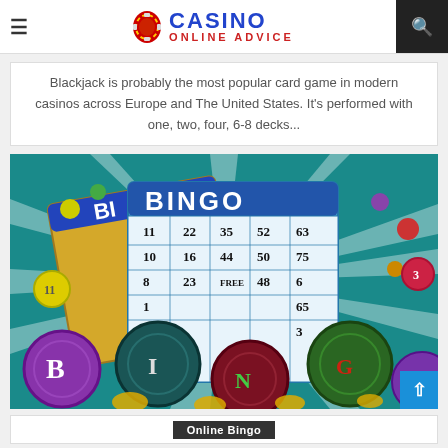CASINO ONLINE ADVICE
Blackjack is probably the most popular card game in modern casinos across Europe and The United States. It's performed with one, two, four, 6-8 decks...
[Figure (illustration): Colorful bingo illustration showing bingo cards with numbers (11, 22, 35, 52, 63, 10, 16, 44, 50, 75, 8, 23, FREE, 48, etc.) and large decorated BINGO balls labeled B, I, N, G, O on a teal starburst background with scattered colorful balls]
Online Bingo